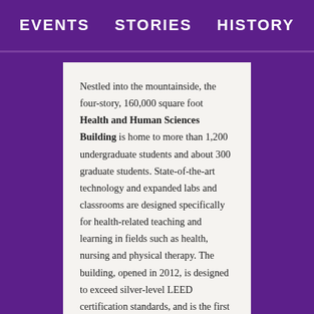EVENTS   STORIES   HISTORY
Nestled into the mountainside, the four-story, 160,000 square foot Health and Human Sciences Building is home to more than 1,200 undergraduate students and about 300 graduate students. State-of-the-art technology and expanded labs and classrooms are designed specifically for health-related teaching and learning in fields such as health, nursing and physical therapy. The building, opened in 2012, is designed to exceed silver-level LEED certification standards, and is the first constructed on the university's West Campus.